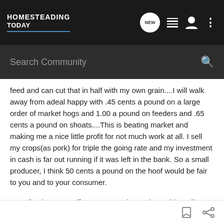HOMESTEADING TODAY
feed and can cut that in half with my own grain....I will walk away from adeal happy with .45 cents a pound on a large order of market hogs and 1.00 a pound on feeders and .65 cents a pound on shoats....This is beating market and making me a nice little profit for not much work at all. I sell my crops(as pork) for triple the going rate and my investment in cash is far out running if it was left in the bank. So a small producer, I think 50 cents a pound on the hoof would be fair to you and to your consumer.
Now, for the same effort you can raise registered breeding stock and sell the same size hog for many times more.